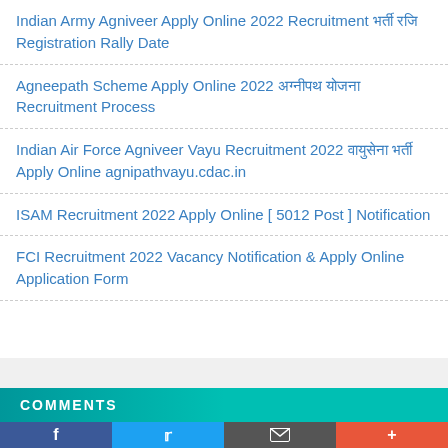Indian Army Agniveer Apply Online 2022 Recruitment भर्ती रजि Registration Rally Date
Agneepath Scheme Apply Online 2022 अग्नीपथ योजना Recruitment Process
Indian Air Force Agniveer Vayu Recruitment 2022 वायुसेना भर्ती Apply Online agnipathvayu.cdac.in
ISAM Recruitment 2022 Apply Online [ 5012 Post ] Notification
FCI Recruitment 2022 Vacancy Notification & Apply Online Application Form
COMMENTS